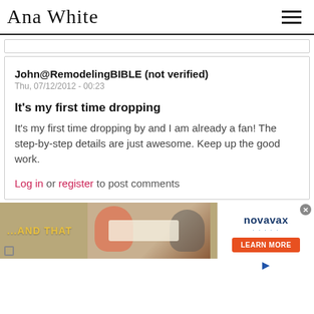Ana White
John@RemodelingBIBLE (not verified)
Thu, 07/12/2012 - 00:23
It's my first time dropping
It's my first time dropping by and I am already a fan! The step-by-step details are just awesome. Keep up the good work.
Log in or register to post comments
[Figure (photo): Advertisement image showing two people at a table with text '...AND THAT' overlay and Novavax ad sidebar with Learn More button]